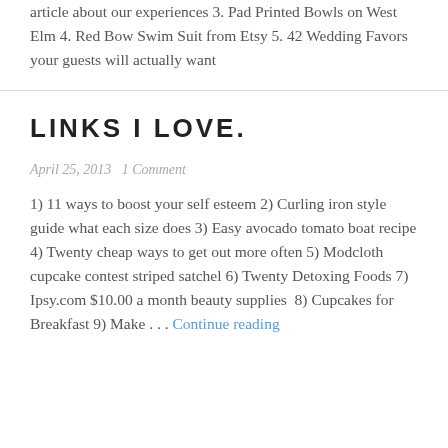article about our experiences 3. Pad Printed Bowls on West Elm 4. Red Bow Swim Suit from Etsy 5. 42 Wedding Favors your guests will actually want
LINKS I LOVE.
April 25, 2013   1 Comment
1) 11 ways to boost your self esteem 2) Curling iron style guide what each size does 3) Easy avocado tomato boat recipe 4) Twenty cheap ways to get out more often 5) Modcloth cupcake contest striped satchel 6) Twenty Detoxing Foods 7) Ipsy.com $10.00 a month beauty supplies 8) Cupcakes for Breakfast 9) Make . . . Continue reading